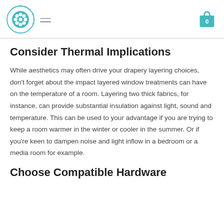Spiffy Spools logo and navigation header
Consider Thermal Implications
While aesthetics may often drive your drapery layering choices, don’t forget about the impact layered window treatments can have on the temperature of a room. Layering two thick fabrics, for instance, can provide substantial insulation against light, sound and temperature. This can be used to your advantage if you are trying to keep a room warmer in the winter or cooler in the summer. Or if you’re keen to dampen noise and light inflow in a bedroom or a media room for example.
Choose Compatible Hardware